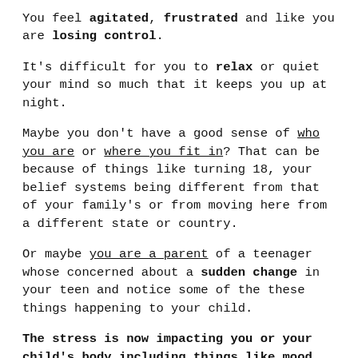You feel agitated, frustrated and like you are losing control.
It's difficult for you to relax or quiet your mind so much that it keeps you up at night.
Maybe you don't have a good sense of who you are or where you fit in? That can be because of things like turning 18, your belief systems being different from that of your family's or from moving here from a different state or country.
Or maybe you are a parent of a teenager whose concerned about a sudden change in your teen and notice some of the these things happening to your child.
The stress is now impacting you or your child's body including things like mood ...